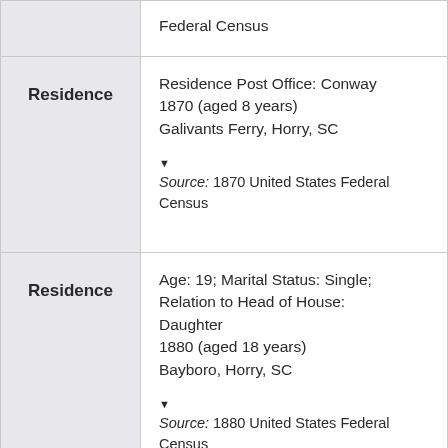| Category | Details |
| --- | --- |
|  | Federal Census |
| Residence | Residence Post Office: Conway
1870 (aged 8 years)
Galivants Ferry, Horry, SC
▼ Source: 1870 United States Federal Census |
| Residence | Age: 19; Marital Status: Single; Relation to Head of House: Daughter
1880 (aged 18 years)
Bayboro, Horry, SC
▼ Source: 1880 United States Federal Census |